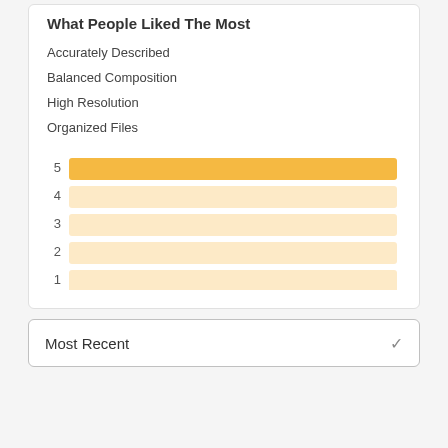What People Liked The Most
Accurately Described
Balanced Composition
High Resolution
Organized Files
[Figure (bar-chart): Rating distribution]
Most Recent